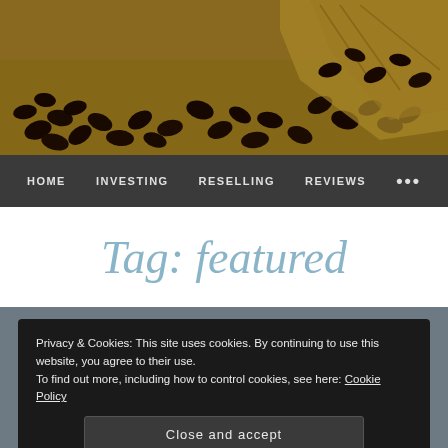[Figure (photo): Hero photo of roasted coffee beans spilling from a burlap sack on a burlap surface]
HOME   INVESTING   RESELLING   REVIEWS   •••
Tag: featured
Privacy & Cookies: This site uses cookies. By continuing to use this website, you agree to their use.
To find out more, including how to control cookies, see here: Cookie Policy
Close and accept